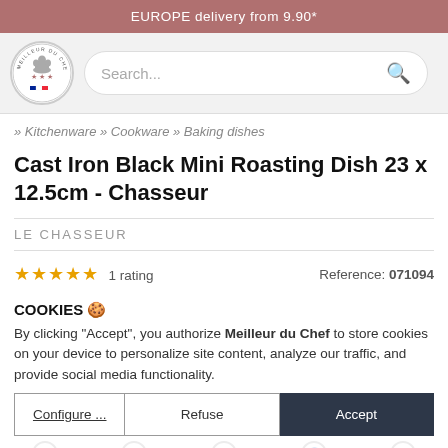EUROPE delivery from 9.90*
[Figure (logo): Meilleur du Chef circular logo with chef hat and stars]
Search...
» Kitchenware » Cookware » Baking dishes
Cast Iron Black Mini Roasting Dish 23 x 12.5cm - Chasseur
LE CHASSEUR
★★★★★ 1 rating
Reference: 071094
COOKIES 🍪
By clicking "Accept", you authorize Meilleur du Chef to store cookies on your device to personalize site content, analyze our traffic, and provide social media functionality.
Configure ...
Refuse
Accept